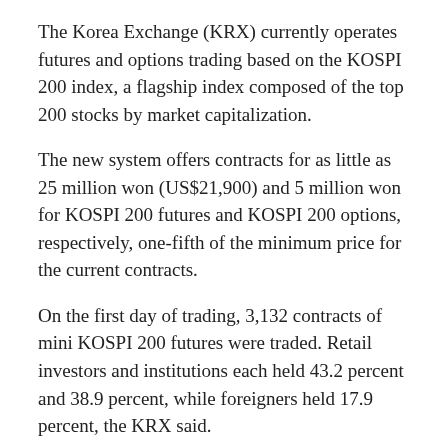The Korea Exchange (KRX) currently operates futures and options trading based on the KOSPI 200 index, a flagship index composed of the top 200 stocks by market capitalization.
The new system offers contracts for as little as 25 million won (US$21,900) and 5 million won for KOSPI 200 futures and KOSPI 200 options, respectively, one-fifth of the minimum price for the current contracts.
On the first day of trading, 3,132 contracts of mini KOSPI 200 futures were traded. Retail investors and institutions each held 43.2 percent and 38.9 percent, while foreigners held 17.9 percent, the KRX said.
Mini KOSPI 200 options registered 6,814 contracts, with half of them traded by foreigners. Institutions and retail investors accounted for 26.8 percent and 22.7 percent of the turnover, respectively.
The bourse operator expected the low-cost entry will attract